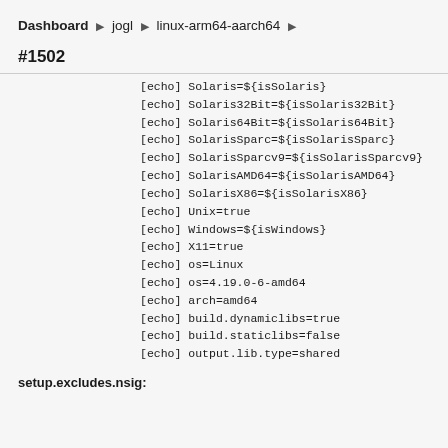Dashboard ▶ jogl ▶ linux-arm64-aarch64 ▶
#1502
[echo] Solaris=${isSolaris}
[echo] Solaris32Bit=${isSolaris32Bit}
[echo] Solaris64Bit=${isSolaris64Bit}
[echo] SolarisSparc=${isSolarisSparc}
[echo] SolarisSparcv9=${isSolarisSparcv9}
[echo] SolarisAMD64=${isSolarisAMD64}
[echo] SolarisX86=${isSolarisX86}
[echo] Unix=true
[echo] Windows=${isWindows}
[echo] X11=true
[echo] os=Linux
[echo] os=4.19.0-6-amd64
[echo] arch=amd64
[echo] build.dynamiclibs=true
[echo] build.staticlibs=false
[echo] output.lib.type=shared
setup.excludes.nsig: